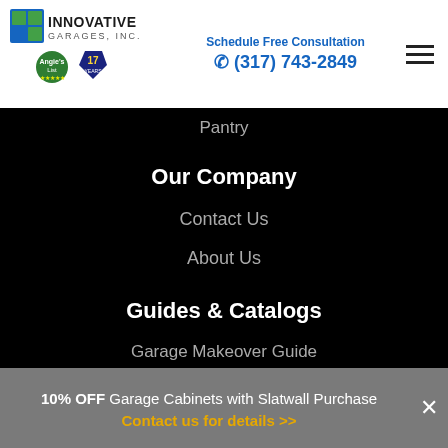[Figure (logo): Innovative Garages, Inc. logo with green/blue icon, company badge and anniversary badge]
Schedule Free Consultation
☎ (317) 743-2849
[Figure (other): Hamburger menu icon (three horizontal lines)]
Pantry
Our Company
Contact Us
About Us
Guides & Catalogs
Garage Makeover Guide
Double Your Closet Space
Floor Coatings 101
10% OFF Garage Cabinets with Slatwall Purchase
Contact us for details >>